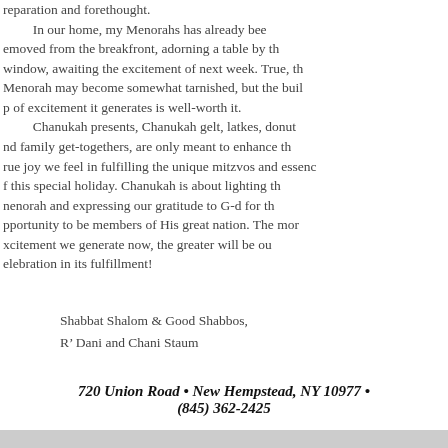reparation and forethought.

In our home, my Menorahs has already been removed from the breakfront, adorning a table by the window, awaiting the excitement of next week. True, the Menorah may become somewhat tarnished, but the build up of excitement it generates is well-worth it.

Chanukah presents, Chanukah gelt, latkes, donuts, and family get-togethers, are only meant to enhance the true joy we feel in fulfilling the unique mitzvos and essence of this special holiday. Chanukah is about lighting the menorah and expressing our gratitude to G-d for the opportunity to be members of His great nation. The more excitement we generate now, the greater will be our celebration in its fulfillment!
Shabbat Shalom & Good Shabbos,
R’ Dani and Chani Staum
720 Union Road • New Hempstead, NY 10977 • (845) 362-2425